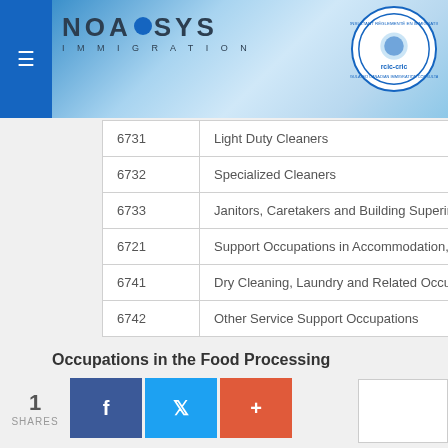[Figure (logo): NOASYS Immigration logo with blue circle and text, alongside RCIC-CRIC certified consultant badge]
| Code | Occupation |
| --- | --- |
| 6731 | Light Duty Cleaners |
| 6732 | Specialized Cleaners |
| 6733 | Janitors, Caretakers and Building Superintendents |
| 6721 | Support Occupations in Accommodation, Travel... |
| 6741 | Dry Cleaning, Laundry and Related Occupations |
| 6742 | Other Service Support Occupations |
Occupations in the Food Processing Industry